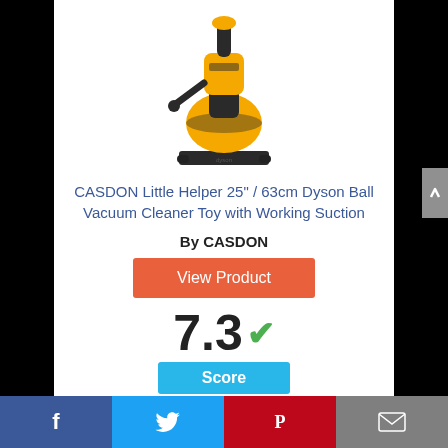[Figure (photo): Yellow and dark grey Dyson Ball vacuum cleaner toy product photo on white background]
CASDON Little Helper 25" / 63cm Dyson Ball Vacuum Cleaner Toy with Working Suction
By CASDON
View Product
7.3 ✓
Score